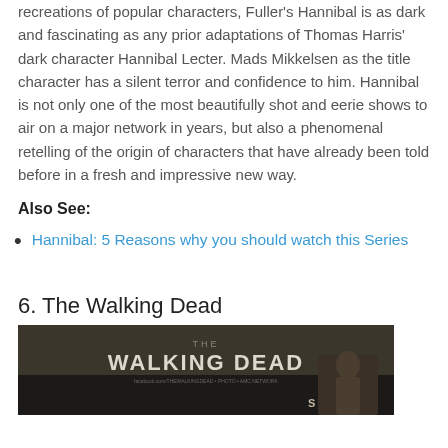recreations of popular characters, Fuller's Hannibal is as dark and fascinating as any prior adaptations of Thomas Harris' dark character Hannibal Lecter. Mads Mikkelsen as the title character has a silent terror and confidence to him. Hannibal is not only one of the most beautifully shot and eerie shows to air on a major network in years, but also a phenomenal retelling of the origin of characters that have already been told before in a fresh and impressive new way.
Also See:
Hannibal: 5 Reasons why you should watch this Series
6. The Walking Dead
[Figure (photo): The Walking Dead Season 4 promotional banner/poster with dark moody background and characters]